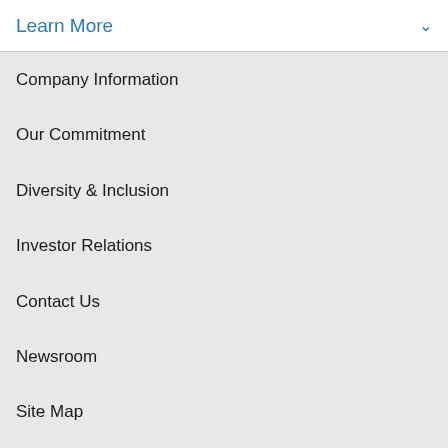Learn More
Company Information
Our Commitment
Diversity & Inclusion
Investor Relations
Contact Us
Newsroom
Site Map
Jobs